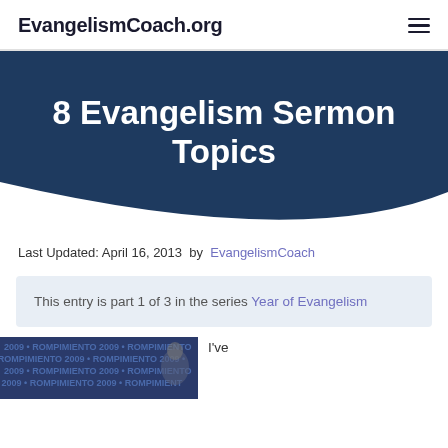EvangelismCoach.org
8 Evangelism Sermon Topics
Last Updated: April 16, 2013 by EvangelismCoach
This entry is part 1 of 3 in the series Year of Evangelism
[Figure (photo): Banner image with text ROMPIMIENTO 2009 repeated, and a person partially visible on the right side]